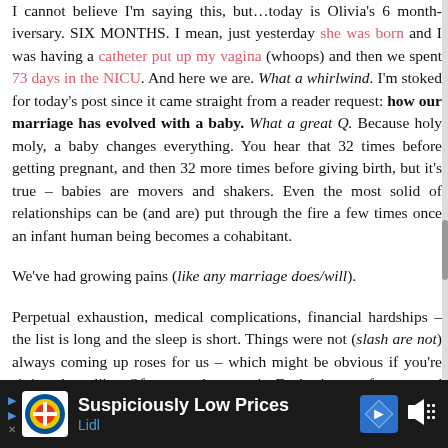I cannot believe I'm saying this, but…today is Olivia's 6 month-iversary. SIX MONTHS. I mean, just yesterday she was born and I was having a catheter put up my vagina (whoops) and then we spent 73 days in the NICU. And here we are. What a whirlwind. I'm stoked for today's post since it came straight from a reader request: how our marriage has evolved with a baby. What a great Q. Because holy moly, a baby changes everything. You hear that 32 times before getting pregnant, and then 32 more times before giving birth, but it's true – babies are movers and shakers. Even the most solid of relationships can be (and are) put through the fire a few times once an infant human being becomes a cohabitant.
We've had growing pains (like any marriage does/will).
Perpetual exhaustion, medical complications, financial hardships – the list is long and the sleep is short. Things were not (slash are not) always coming up roses for us – which might be obvious if you're sitting there like, Of course they aren't, E, they're not for anyone! But social media plays tricks on our brains sometimes, so I felt it was worth repeating, just in case any of you are also guilty of sometimes honing in on the highlights that people curate to the...
[Figure (other): Lidl advertisement banner with 'Suspiciously Low Prices' text and Lidl logo]